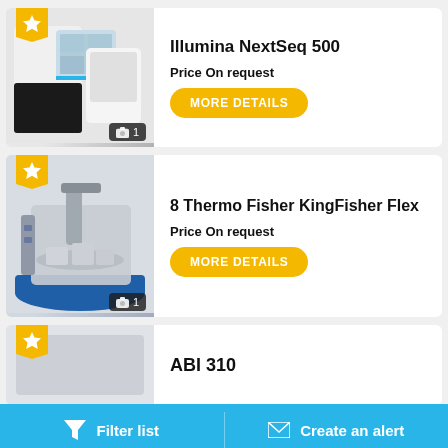[Figure (photo): Illumina NextSeq 500 sequencer machine, white and black device with touchscreen]
Illumina NextSeq 500
Price On request
MORE DETAILS
[Figure (photo): 8 Thermo Fisher KingFisher Flex instrument, blue base with grey robotic arm]
8 Thermo Fisher KingFisher Flex
Price On request
MORE DETAILS
[Figure (photo): ABI 310 instrument, partial view]
ABI 310
Filter list    Create an alert